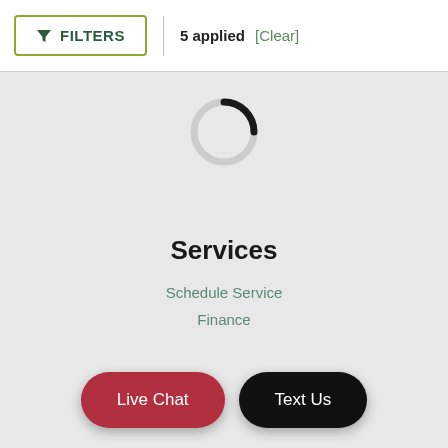[Figure (screenshot): Filter button with funnel icon, border in yellow-green, labeled FILTERS]
5 applied  [Clear]
[Figure (other): Loading spinner / circular progress indicator, partially filled in black on grey background]
Services
Schedule Service
Finance
Live Chat
Text Us